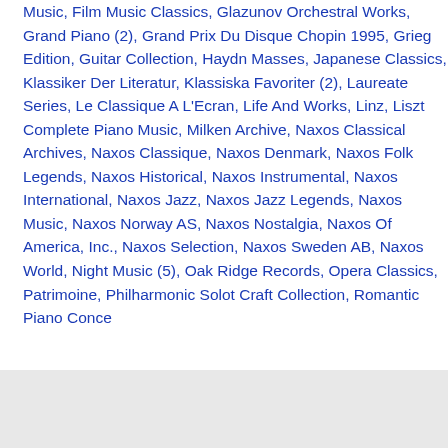Music, Film Music Classics, Glazunov Orchestral Works, Grand Piano (2), Grand Prix Du Disque Chopin 1995, Grieg Edition, Guitar Collection, Haydn Masses, Japanese Classics, Klassiker Der Literatur, Klassiska Favoriter (2), Laureate Series, Le Classique A L'Ecran, Life And Works, Linz, Liszt Complete Piano Music, Milken Archive, Naxos Classical Archives, Naxos Classique, Naxos Denmark, Naxos Folk Legends, Naxos Historical, Naxos Instrumental, Naxos International, Naxos Jazz, Naxos Jazz Legends, Naxos Music, Naxos Norway AS, Naxos Nostalgia, Naxos Of America, Inc., Naxos Selection, Naxos Sweden AB, Naxos World, Night Music (5), Oak Ridge Records, Opera Classics, Patrimoine, Philharmonic Solo... Craft Collection, Romantic Piano Conce...